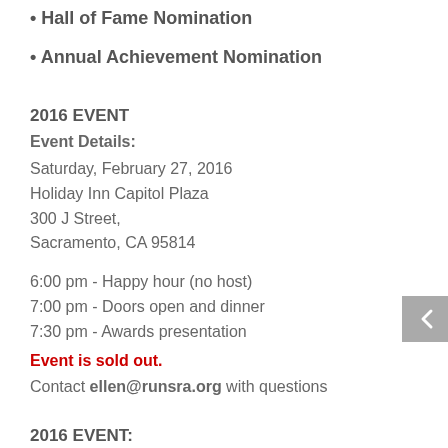• Hall of Fame Nomination
• Annual Achievement Nomination
2016 EVENT
Event Details:
Saturday, February 27, 2016
Holiday Inn Capitol Plaza
300 J Street,
Sacramento, CA 95814
6:00 pm - Happy hour (no host)
7:00 pm - Doors open and dinner
7:30 pm - Awards presentation
Event is sold out.
Contact ellen@runsra.org with questions
2016 EVENT:
Hall of Fame Class
Annual Achievement Awards